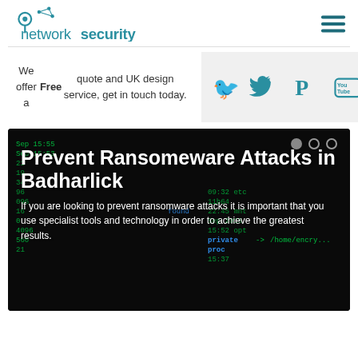network security
We offer a Free quote and UK design service, get in touch today.
[Figure (logo): Social media icons: Twitter, Pinterest, YouTube, Tumblr]
[Figure (photo): Dark terminal/code background with green text showing file system listings and encrypted paths]
Prevent Ransomeware Attacks in Badharlick
If you are looking to prevent ransomware attacks it is important that you use specialist tools and technology in order to achieve the greatest results.